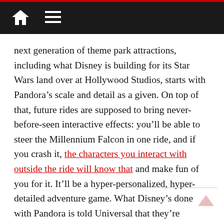Navigation bar with home and menu icons
next generation of theme park attractions, including what Disney is building for its Star Wars land over at Hollywood Studios, starts with Pandora’s scale and detail as a given. On top of that, future rides are supposed to bring never-before-seen interactive effects: you’ll be able to steer the Millennium Falcon in one ride, and if you crash it, the characters you interact with outside the ride will know that and make fun of you for it. It’ll be a hyper-personalized, hyper-detailed adventure game. What Disney’s done with Pandora is told Universal that they’re playing to win.